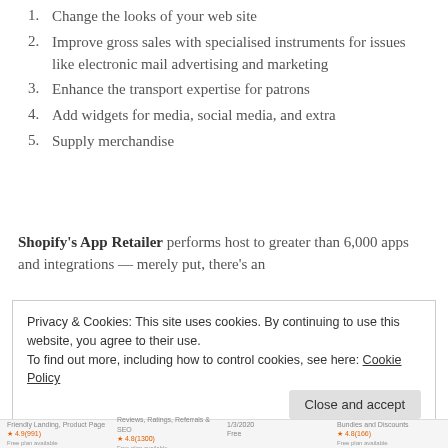1. Change the looks of your web site
2. Improve gross sales with specialised instruments for issues like electronic mail advertising and marketing
3. Enhance the transport expertise for patrons
4. Add widgets for media, social media, and extra
5. Supply merchandise
Shopify's App Retailer performs host to greater than 6,000 apps and integrations — merely put, there's an
Privacy & Cookies: This site uses cookies. By continuing to use this website, you agree to their use. To find out more, including how to control cookies, see here: Cookie Policy
Friendly Landing, Product Page | Reviews, Ratings, Referrals & SEO | 1/3/2020 Free | Bundles and Discounts